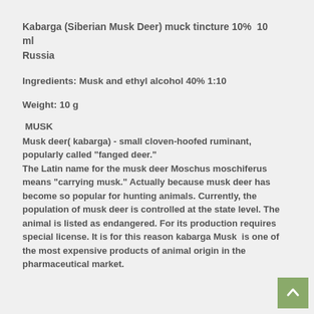Kabarga (Siberian Musk Deer) muck tincture 10%  10 ml Russia
Ingredients: Musk and ethyl alcohol 40% 1:10
Weight: 10 g
MUSK
Musk deer( kabarga) - small cloven-hoofed ruminant, popularly called "fanged deer." The Latin name for the musk deer Moschus moschiferus means "carrying musk." Actually because musk deer has become so popular for hunting animals. Currently, the population of musk deer is controlled at the state level. The animal is listed as endangered. For its production requires special license. It is for this reason kabarga Musk  is one of the most expensive products of animal origin in the pharmaceutical market.